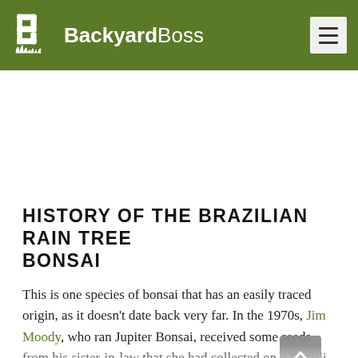BackyardBoss
HISTORY OF THE BRAZILIAN RAIN TREE BONSAI
This is one species of bonsai that has an easily traced origin, as it doesn't date back very far. In the 1970s, Jim Moody, who ran Jupiter Bonsai, received some seeds from his sister-in-law that she had collected on a Brazilian...